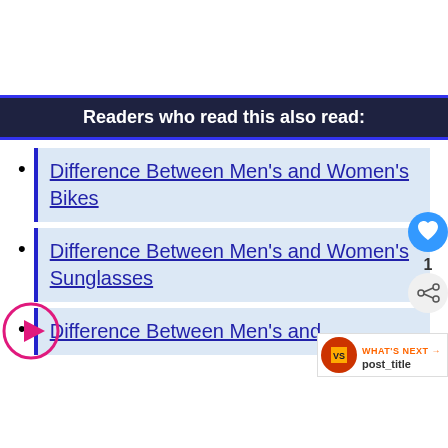Readers who read this also read:
Difference Between Men's and Women's Bikes
Difference Between Men's and Women's Sunglasses
Difference Between Men's and